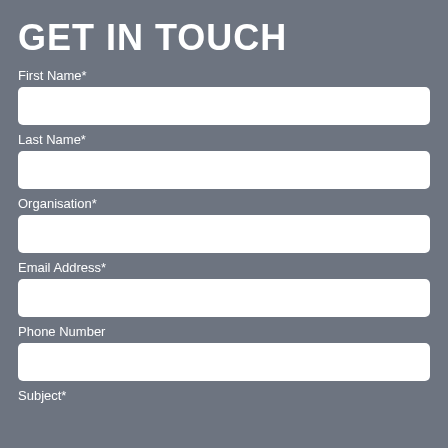GET IN TOUCH
First Name*
Last Name*
Organisation*
Email Address*
Phone Number
Subject*